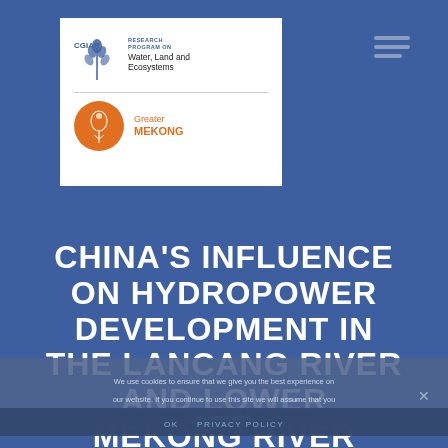[Figure (logo): CGIAR Research Program on Water, Land and Ecosystems logo with Greater Mekong sub-logo in orange circle]
CHINA'S INFLUENCE ON HYDROPOWER DEVELOPMENT IN THE LANCANG RIVER AND LOWER MEKONG RIVER
We use cookies to ensure that we give you the best experience on our website. If you continue to use this site we will assume that you are happy with it.
OK   PRIVACY POLICY